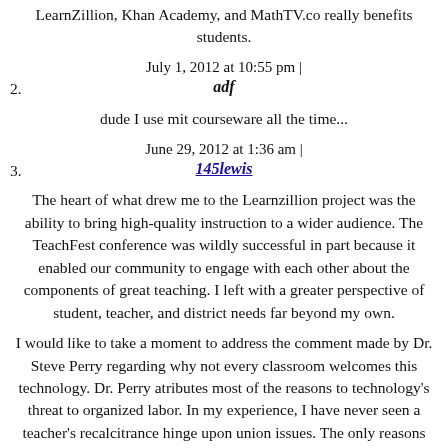LearnZillion, Khan Academy, and MathTV.co really benefits students.
July 1, 2012 at 10:55 pm |
2. adf
dude I use mit courseware all the time...
June 29, 2012 at 1:36 am |
3. 145lewis
The heart of what drew me to the Learnzillion project was the ability to bring high-quality instruction to a wider audience. The TeachFest conference was wildly successful in part because it enabled our community to engage with each other about the components of great teaching. I left with a greater perspective of student, teacher, and district needs far beyond my own.
I would like to take a moment to address the comment made by Dr. Steve Perry regarding why not every classroom welcomes this technology. Dr. Perry atributes most of the reasons to technology's threat to organized labor. In my experience, I have never seen a teacher's recalcitrance hinge upon union issues. The only reasons I've ever heard teacher's reject new methodologies or tools is because of the way they